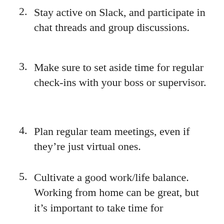2. Stay active on Slack, and participate in chat threads and group discussions.
3. Make sure to set aside time for regular check-ins with your boss or supervisor.
4. Plan regular team meetings, even if they’re just virtual ones.
5. Cultivate a good work/life balance. Working from home can be great, but it’s important to take time for